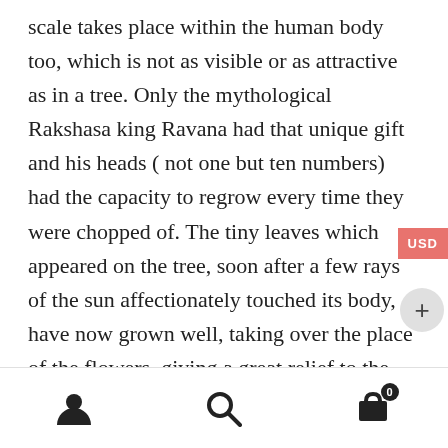scale takes place within the human body too, which is not as visible or as attractive as in a tree. Only the mythological Rakshasa king Ravana had that unique gift and his heads ( not one but ten numbers) had the capacity to regrow every time they were chopped of. The tiny leaves which appeared on the tree, soon after a few rays of the sun affectionately touched its body, have now grown well, taking over the place of the flowers, giving a great relief to the mother. After a few months these leaves also will go away, leaving the tree alone
[Figure (other): Bottom navigation bar with user/account icon, search icon, and shopping cart icon with badge showing 0]